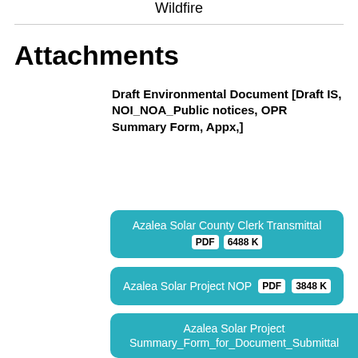Wildfire
Attachments
Draft Environmental Document [Draft IS, NOI_NOA_Public notices, OPR Summary Form, Appx,]
Azalea Solar County Clerk Transmittal PDF 6488K
Azalea Solar Project NOP PDF 3848K
Azalea Solar Project Summary_Form_for_Document_Submittal